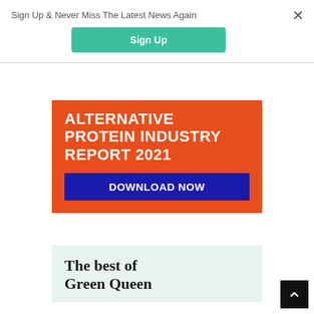Sign Up & Never Miss The Latest News Again
Sign Up
[Figure (illustration): Orange promotional banner for Alternative Protein Industry Report 2021 with a blue Download Now button]
[Figure (illustration): Light green banner showing 'The best of Green Queen' text]